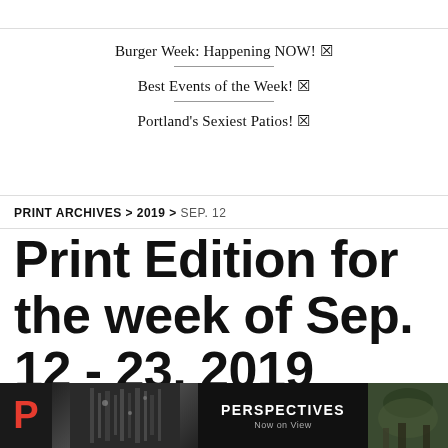Burger Week: Happening NOW! 🔲
Best Events of the Week! 🔲
Portland's Sexiest Patios! 🔲
PRINT ARCHIVES > 2019 > SEP. 12
Print Edition for the week of Sep. 12 - 23, 2019
0, No. 9
[Figure (other): Advertisement banner with red P logo on left, dark industrial image in center, PERSPECTIVES Now on View text, and outdoor scene on right]